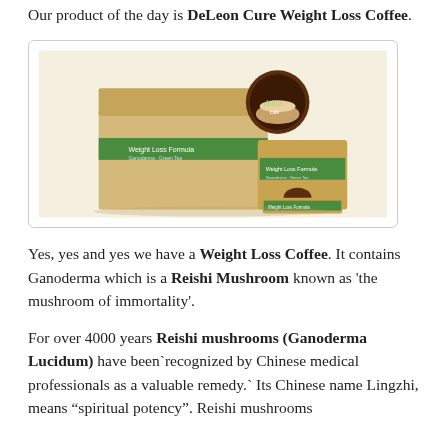Our product of the day is DeLeon Cure Weight Loss Coffee.
[Figure (photo): Product photo of DeLeon Cure Weight Loss Coffee showing a box and individual sachet packets with green and brown branding, featuring a cup of coffee and a circular logo.]
Yes, yes and yes we have a Weight Loss Coffee. It contains Ganoderma which is a Reishi Mushroom known as 'the mushroom of immortality'.
For over 4000 years Reishi mushrooms (Ganoderma Lucidum) have been`recognized by Chinese medical professionals as a valuable remedy.` Its Chinese name Lingzhi, means "spiritual potency". Reishi mushrooms